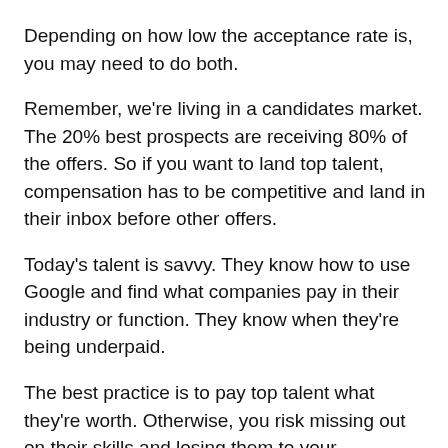Depending on how low the acceptance rate is, you may need to do both.
Remember, we're living in a candidates market. The 20% best prospects are receiving 80% of the offers. So if you want to land top talent, compensation has to be competitive and land in their inbox before other offers.
Today's talent is savvy. They know how to use Google and find what companies pay in their industry or function. They know when they're being underpaid.
The best practice is to pay top talent what they're worth. Otherwise, you risk missing out on their skills and losing them to your competitors.
5. Cost to fill